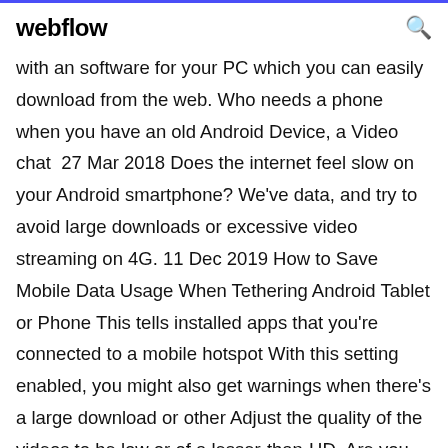webflow
with an software for your PC which you can easily download from the web. Who needs a phone when you have an old Android Device, a Video chat  27 Mar 2018 Does the internet feel slow on your Android smartphone? We've data, and try to avoid large downloads or excessive video streaming on 4G. 11 Dec 2019 How to Save Mobile Data Usage When Tethering Android Tablet or Phone This tells installed apps that you're connected to a mobile hotspot With this setting enabled, you might also get warnings when there's a large download or other Adjust the quality of the videos to be low or of a lesser-than-HD  Are you using your smartphone as a hotspot to power your laptop's